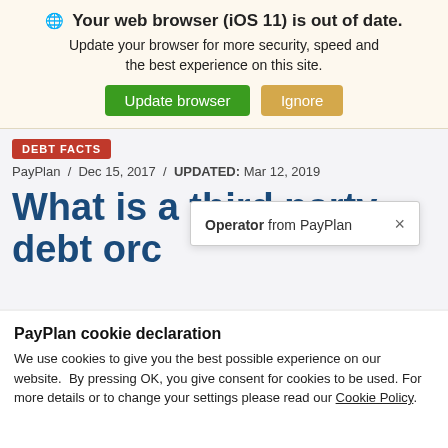🌐 Your web browser (iOS 11) is out of date. Update your browser for more security, speed and the best experience on this site.
Update browser | Ignore
DEBT FACTS
PayPlan / Dec 15, 2017 / UPDATED: Mar 12, 2019
What is a third party debt ord
Operator from PayPlan ×
PayPlan cookie declaration
We use cookies to give you the best possible experience on our website. By pressing OK, you give consent for cookies to be used. For more details or to change your settings please read our Cookie Policy.
OK   Settings ∨